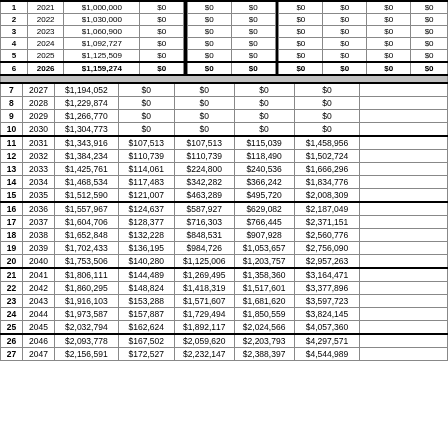| # | Year | Col3 | Col4 | Col5 | Col6 | Col7 | Col8 |
| --- | --- | --- | --- | --- | --- | --- | --- |
| 1 | 2021 | $1,000,000 | $0 | $0 | $0 | $0 | $0 | $0 |
| 2 | 2022 | $1,030,000 | $0 | $0 | $0 | $0 | $0 | $0 |
| 3 | 2023 | $1,060,900 | $0 | $0 | $0 | $0 | $0 | $0 |
| 4 | 2024 | $1,092,727 | $0 | $0 | $0 | $0 | $0 | $0 |
| 5 | 2025 | $1,125,509 | $0 | $0 | $0 | $0 | $0 | $0 |
| 6 | 2026 | $1,159,274 | $0 | $0 | $0 | $0 | $0 | $0 |
| 7 | 2027 | $1,194,052 | $0 | $0 | $0 | $0 | $0 |  |
| 8 | 2028 | $1,229,874 | $0 | $0 | $0 | $0 | $0 |  |
| 9 | 2029 | $1,266,770 | $0 | $0 | $0 | $0 | $0 |  |
| 10 | 2030 | $1,304,773 | $0 | $0 | $0 | $0 | $0 |  |
| 11 | 2031 | $1,343,916 | $107,513 | $107,513 | $115,039 | $1,458,956 |  |  |
| 12 | 2032 | $1,384,234 | $110,739 | $110,739 | $118,490 | $1,502,724 |  |  |
| 13 | 2033 | $1,425,761 | $114,061 | $224,800 | $240,536 | $1,666,296 |  |  |
| 14 | 2034 | $1,468,534 | $117,483 | $342,282 | $366,242 | $1,834,776 |  |  |
| 15 | 2035 | $1,512,590 | $121,007 | $463,289 | $495,720 | $2,008,309 |  |  |
| 16 | 2036 | $1,557,967 | $124,637 | $587,927 | $629,082 | $2,187,049 |  |  |
| 17 | 2037 | $1,604,706 | $128,377 | $716,303 | $766,445 | $2,371,151 |  |  |
| 18 | 2038 | $1,652,848 | $132,228 | $848,531 | $907,928 | $2,560,776 |  |  |
| 19 | 2039 | $1,702,433 | $136,195 | $984,726 | $1,053,657 | $2,756,090 |  |  |
| 20 | 2040 | $1,753,506 | $140,280 | $1,125,006 | $1,203,757 | $2,957,263 |  |  |
| 21 | 2041 | $1,806,111 | $144,489 | $1,269,495 | $1,358,360 | $3,164,471 |  |  |
| 22 | 2042 | $1,860,295 | $148,824 | $1,418,319 | $1,517,601 | $3,377,896 |  |  |
| 23 | 2043 | $1,916,103 | $153,288 | $1,571,607 | $1,681,620 | $3,597,723 |  |  |
| 24 | 2044 | $1,973,587 | $157,887 | $1,729,494 | $1,850,559 | $3,824,145 |  |  |
| 25 | 2045 | $2,032,794 | $162,624 | $1,892,117 | $2,024,566 | $4,057,360 |  |  |
| 26 | 2046 | $2,093,778 | $167,502 | $2,059,620 | $2,203,793 | $4,297,571 |  |  |
| 27 | 2047 | $2,156,591 | $172,527 | $2,232,147 | $2,388,397 | $4,544,989 |  |  |